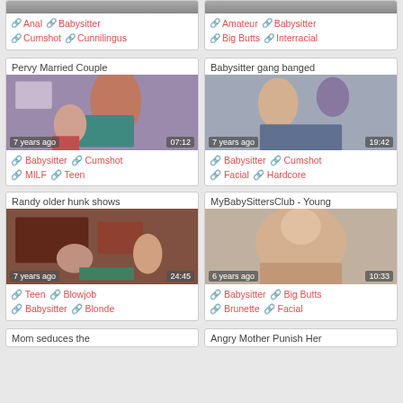[Figure (other): Top partial row of two video thumbnails partially visible at top of page]
🔗 Anal 🔗 Babysitter 🔗 Cumshot 🔗 Cunnilingus
🔗 Amateur 🔗 Babysitter 🔗 Big Butts 🔗 Interracial
[Figure (photo): Video thumbnail: Pervy Married Couple, 7 years ago, 07:12]
Pervy Married Couple
🔗 Babysitter 🔗 Cumshot 🔗 MILF 🔗 Teen
[Figure (photo): Video thumbnail: Babysitter gang banged, 7 years ago, 19:42]
Babysitter gang banged
🔗 Babysitter 🔗 Cumshot 🔗 Facial 🔗 Hardcore
[Figure (photo): Video thumbnail: Randy older hunk shows, 7 years ago, 24:45]
Randy older hunk shows
🔗 Teen 🔗 Blowjob 🔗 Babysitter 🔗 Blonde
[Figure (photo): Video thumbnail: MyBabySittersClub - Young, 6 years ago, 10:33]
MyBabySittersClub - Young
🔗 Babysitter 🔗 Big Butts 🔗 Brunette 🔗 Facial
Mom seduces the
Angry Mother Punish Her